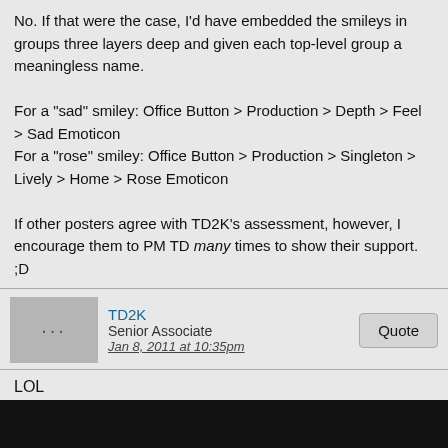No. If that were the case, I'd have embedded the smileys in groups three layers deep and given each top-level group a meaningless name.

For a "sad" smiley: Office Button > Production > Depth > Feel > Sad Emoticon
For a "rose" smiley: Office Button > Production > Singleton > Lively > Home > Rose Emoticon

If other posters agree with TD2K's assessment, however, I encourage them to PM TD many times to show their support. ;D
TD2K
Senior Associate
Jan 8, 2011 at 10:35pm
Quote
LOL
deziloooooo
Senior Associate
Jan 9, 2011 at 12:01am
Quote
I can't get over how great and responsive who ever is doing all this to these boards are, my only suggestion would be a thread, a permanent one